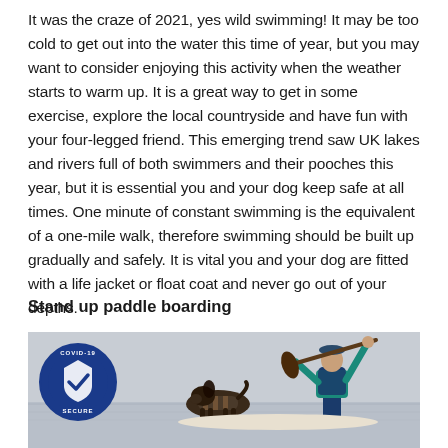It was the craze of 2021, yes wild swimming! It may be too cold to get out into the water this time of year, but you may want to consider enjoying this activity when the weather starts to warm up. It is a great way to get in some exercise, explore the local countryside and have fun with your four-legged friend. This emerging trend saw UK lakes and rivers full of both swimmers and their pooches this year, but it is essential you and your dog keep safe at all times. One minute of constant swimming is the equivalent of a one-mile walk, therefore swimming should be built up gradually and safely. It is vital you and your dog are fitted with a life jacket or float coat and never go out of your depths.
Stand up paddle boarding
[Figure (photo): A person in a teal top and navy vest holding a paddle, with a dog on a paddleboard on water. A COVID-19 Secure badge is visible in the top-left corner of the image.]